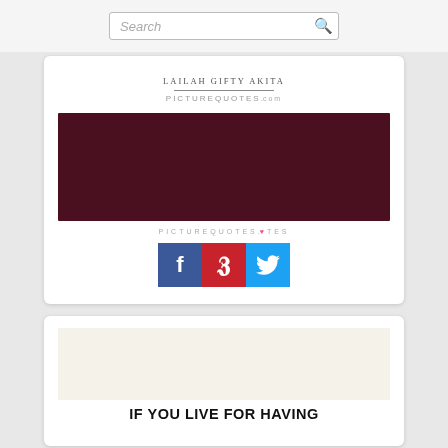[Figure (screenshot): Search bar with search icon at the top of the page]
[Figure (screenshot): Quote card showing LAILAH GIFTY AKITA attribution, a dark maroon/burgundy image block, PICTUREQUOTES.com branding, and Facebook, Pinterest, Twitter share buttons]
[Figure (screenshot): Second quote card showing a light cream/beige image area and the beginning of bold text reading IF YOU LIVE FOR HAVING]
IF YOU LIVE FOR HAVING